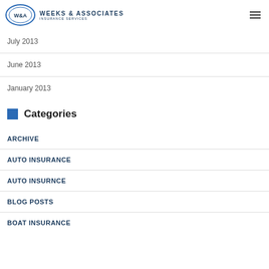Weeks & Associates Insurance Services
July 2013
June 2013
January 2013
Categories
ARCHIVE
AUTO INSURANCE
AUTO INSURNCE
BLOG POSTS
BOAT INSURANCE